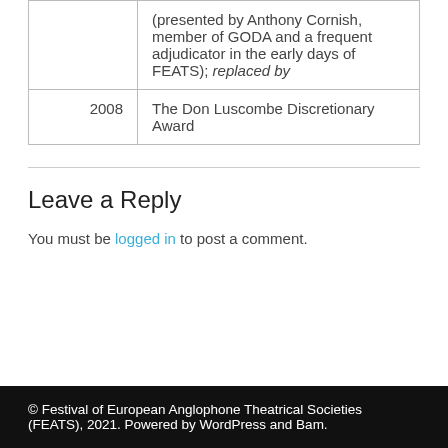|  | (presented by Anthony Cornish, member of GODA and a frequent adjudicator in the early days of FEATS); replaced by |
| 2008 | The Don Luscombe Discretionary Award |
Leave a Reply
You must be logged in to post a comment.
© Festival of European Anglophone Theatrical Societies (FEATS), 2021. Powered by WordPress and Bam.